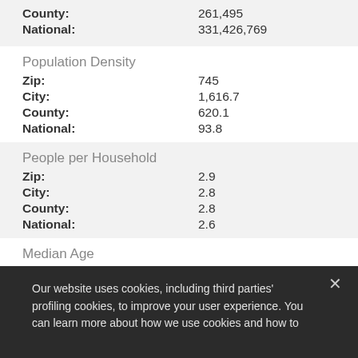|  |  |
| --- | --- |
| County: | 261,495 |
| National: | 331,426,769 |
Population Density
|  |  |
| --- | --- |
| Zip: | 745 |
| City: | 1,616.7 |
| County: | 620.1 |
| National: | 93.8 |
People per Household
|  |  |
| --- | --- |
| Zip: | 2.9 |
| City: | 2.8 |
| County: | 2.8 |
| National: | 2.6 |
Median Age
|  |  |
| --- | --- |
| Zip: | 39.3 |
Our website uses cookies, including third parties' profiling cookies, to improve your user experience. You can learn more about how we use cookies and how to